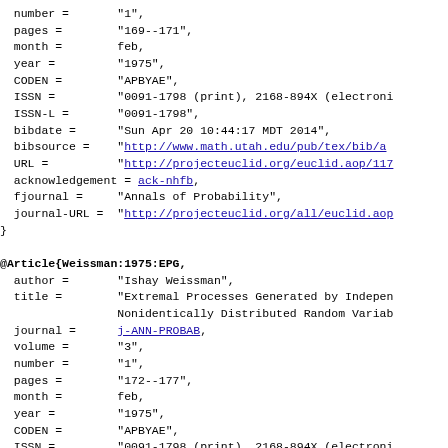BibTeX bibliography entry continuation and new entry for Weissman:1975:EPG